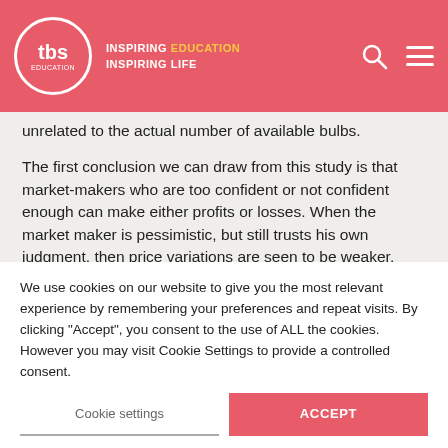tbs EDUCATION | INSPIRING EDUCATION INSPIRING LIFE
unrelated to the actual number of available bulbs.
The first conclusion we can draw from this study is that market-makers who are too confident or not confident enough can make either profits or losses. When the market maker is pessimistic, but still trusts his own judgment, then price variations are seen to be weaker.
Prices increase mechanically, and the volume exchanged by rational traders is then low. Nevertheless, one conclusion of the study is that market-makers are able to take advantage of the market: the rise in prices does not affect the overall demand.
The results of this research also show that while traders with biased behavior trigger situations of disequilibrium, market-makers can control its confidence to reduce the likelihood that this will happen. For instance, an optimistic
We use cookies on our website to give you the most relevant experience by remembering your preferences and repeat visits. By clicking "Accept", you consent to the use of ALL the cookies. However you may visit Cookie Settings to provide a controlled consent.
Cookie settings
ACCEPT